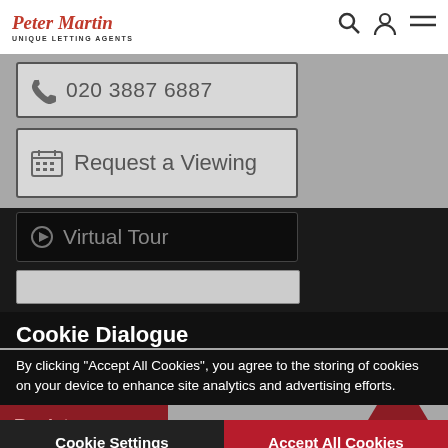Peter Martin – Unique Letting Agents
020 3887 6887
Request a Viewing
Virtual Tour
Cookie Dialogue
By clicking "Accept All Cookies", you agree to the storing of cookies on your device to enhance site analytics and advertising efforts.
Cookie Settings
Accept All Cookies
Exeter Mansions, Exeter Road, Kilburn, London, NW2
Four Double Bedroom Apartment
Two Bathrooms
Brand Newly Refurbished
Lovely Mansion Block
Register
ious